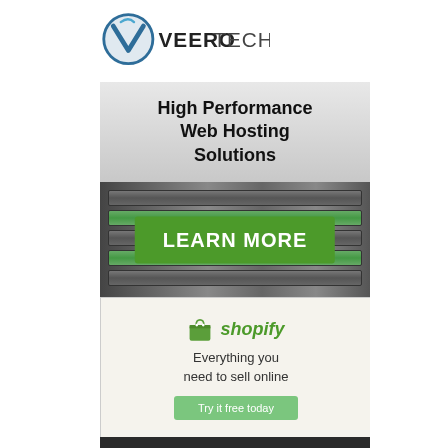[Figure (logo): VeeroTech logo with blue/teal V icon and text VEEROTECH]
[Figure (infographic): VeeroTech ad: High Performance Web Hosting Solutions with server rack image and green LEARN MORE button]
[Figure (infographic): Shopify ad: Shopify logo, Everything you need to sell online, Try it free today button]
[Figure (infographic): Shopify experts dark banner with bag icon]
[Figure (infographic): Partially visible Start banner with light blue ribbon]